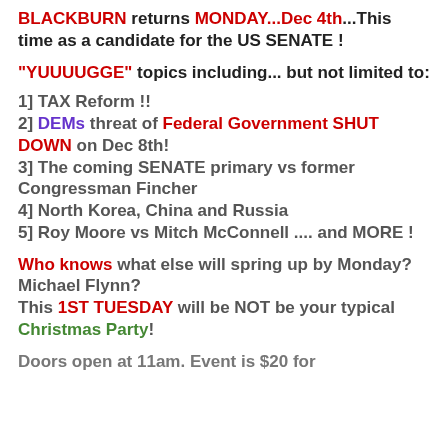BLACKBURN returns MONDAY...Dec 4th...This time as a candidate for the US SENATE !
"YUUUUGGE" topics including... but not limited to:
1] TAX Reform !!
2] DEMs threat of Federal Government SHUT DOWN on Dec 8th!
3] The coming SENATE primary vs former Congressman Fincher
4] North Korea, China and Russia
5] Roy Moore vs Mitch McConnell .... and MORE !
Who knows what else will spring up by Monday? Michael Flynn? This 1ST TUESDAY will be NOT be your typical Christmas Party!
Doors open at 11am. Event is $20 for